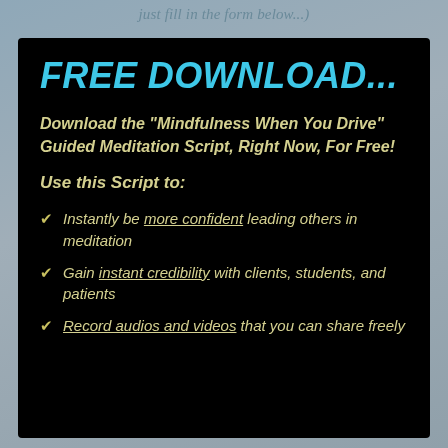just fill in the form below...)
FREE DOWNLOAD...
Download the "Mindfulness When You Drive" Guided Meditation Script, Right Now, For Free!
Use this Script to:
Instantly be more confident leading others in meditation
Gain instant credibility with clients, students, and patients
Record audios and videos that you can share freely